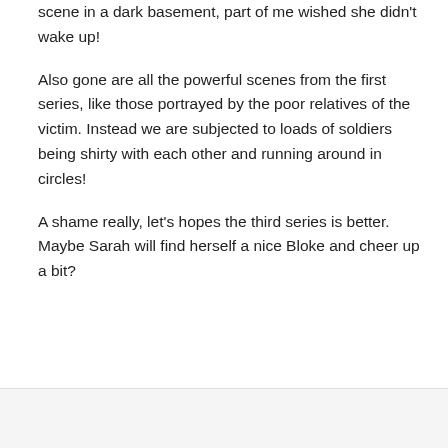scene in a dark basement, part of me wished she didn't wake up!
Also gone are all the powerful scenes from the first series, like those portrayed by the poor relatives of the victim. Instead we are subjected to loads of soldiers being shirty with each other and running around in circles!
A shame really, let's hopes the third series is better. Maybe Sarah will find herself a nice Bloke and cheer up a bit?
↳ Reply
Mrs P. on March 18, 2011 at 10:57